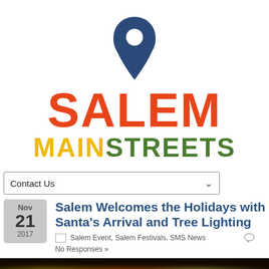[Figure (logo): Salem Main Streets logo with location pin icon above text. 'SALEM' in large orange letters, 'MAIN' in yellow and 'STREETS' in green below.]
Contact Us
Salem Welcomes the Holidays with Santa's Arrival and Tree Lighting
Salem Event, Salem Festivals, SMS News   No Responses »
[Figure (photo): Partial photo showing colorful holiday lights/bokeh at the bottom of the page.]